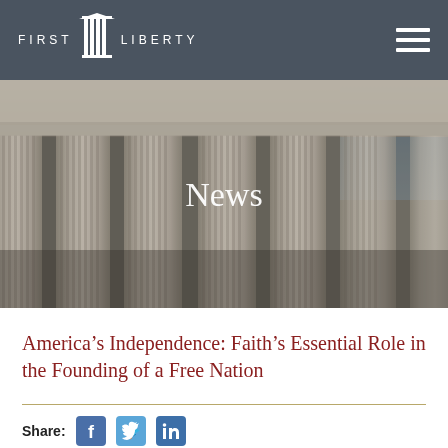FIRST LIBERTY
[Figure (photo): Photograph of classical stone columns of a government or court building, with ornate Corinthian capitals. A 'News' heading overlay appears centered on the image.]
America’s Independence: Faith’s Essential Role in the Founding of a Free Nation
Share: